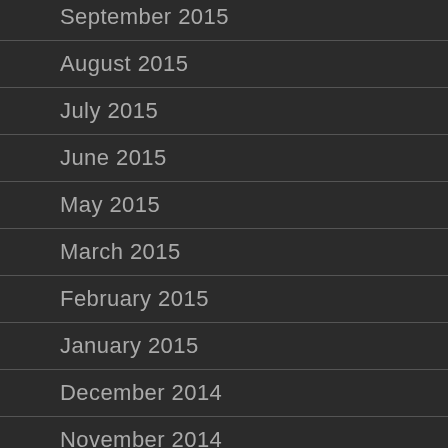September 2015
August 2015
July 2015
June 2015
May 2015
March 2015
February 2015
January 2015
December 2014
November 2014
October 2014
September 2014
August 2014
May 2014